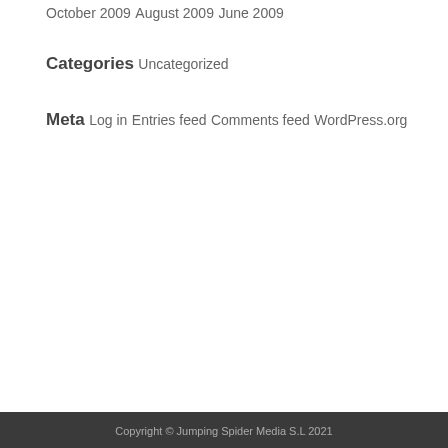October 2009
August 2009
June 2009
Categories
Uncategorized
Meta
Log in
Entries feed
Comments feed
WordPress.org
Copyright © Jumping Spider Media S.L 2021